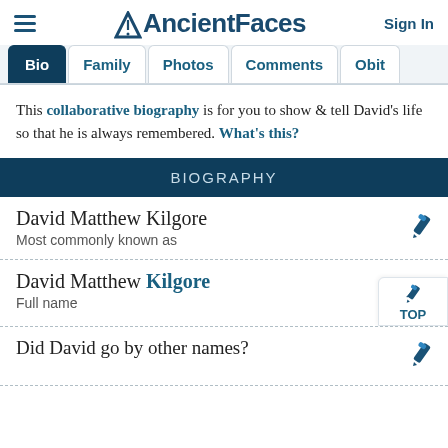AncientFaces   Sign In
This collaborative biography is for you to show & tell David's life so that he is always remembered. What's this?
BIOGRAPHY
David Matthew Kilgore
Most commonly known as
David Matthew Kilgore
Full name
Did David go by other names?